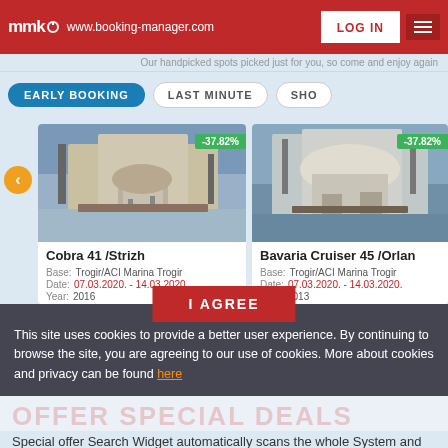mmk www.booking-manager.com | LOG IN | menu
Our handpicked spots picked just for you, so come and enjoy again
EARLY BOOKING | LAST MINUTE | SHO...
[Figure (photo): Sailing yacht Cobra 41 /Strizh docked at marina, stern view, with -37.82% discount badge]
[Figure (photo): Sailing yacht Bavaria Cruiser 45 /Orlan docked at marina, with -37.82% discount badge]
Cobra 41 /Strizh
Base: Trogir/ACI Marina Trogir
Date: 07.03.2020. - 14.03.2020.
Year: 2016
Bavaria Cruiser 45 /Orlan
Base: Trogir/ACI Marina Trogir
Date: 07.03.2020. - 14.03.2020.
Year: 2013
I AGREE
This site uses cookies to provide a better user experience. By continuing to browse the site, you are agreeing to our use of cookies. More about cookies and privacy can be found here
OFFER SPECIAL DEALS
Special offer Search Widget automatically scans the whole System and enables you to quickly highlight special offers...